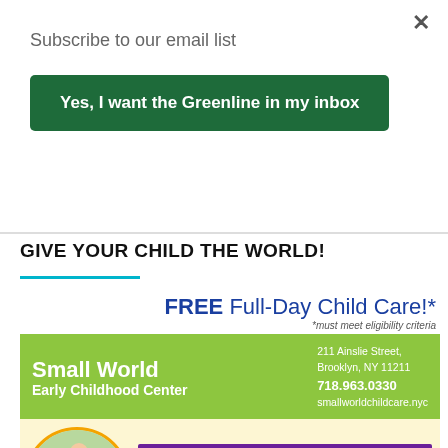Subscribe to our email list
Yes, I want the Greenline in my inbox
GIVE YOUR CHILD THE WORLD!
[Figure (infographic): Small World Early Childhood Center advertisement. FREE Full-Day Child Care! *must meet eligibility criteria. 211 Ainslie Street, Brooklyn, NY 11211. 718.963.0330. smallworldchildcare.nyc. LIMITED SLOTS AVAILABLE. For children born in 2019, 2018, and 2017. To apply for NYC SUBSIDIZED CHILDCARE call: Staci White at 718.963.0330 ext. 12]